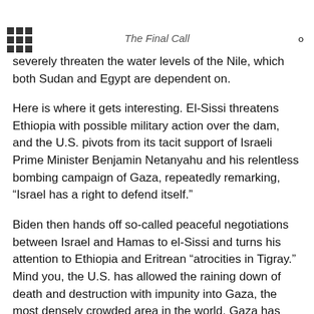The Final Call
hydroelectric power plant in Africa, and the seventh largest in the world. El-Sisi and Sudan have complained that the second filling of the dam would severely threaten the water levels of the Nile, which both Sudan and Egypt are dependent on.
Here is where it gets interesting. El-Sissi threatens Ethiopia with possible military action over the dam, and the U.S. pivots from its tacit support of Israeli Prime Minister Benjamin Netanyahu and his relentless bombing campaign of Gaza, repeatedly remarking, “Israel has a right to defend itself.”
Biden then hands off so-called peaceful negotiations between Israel and Hamas to el-Sissi and turns his attention to Ethiopia and Eritrean “atrocities in Tigray.” Mind you, the U.S. has allowed the raining down of death and destruction with impunity into Gaza, the most densely crowded area in the world. Gaza has been described as an open-air concentration camp from which its two million inhabitants have no place to run. The Palestinians there recently suffered 11 days of sheer hell in which nearly 300 people were killed,